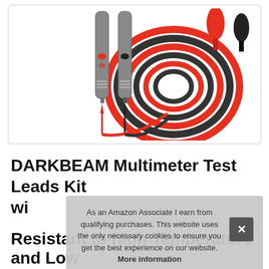[Figure (photo): Product photo of DARKBEAM Multimeter Test Leads Kit showing two gray test probes with red accents and coiled red and black cables, with red and black banana plug connectors visible in upper right corner, on white background inside a rounded rectangle border.]
DARKBEAM Multimeter Test Leads Kit wi... Wi... 10... Resistant to high Temperature and Low
As an Amazon Associate I earn from qualifying purchases. This website uses the only necessary cookies to ensure you get the best experience on our website. More information